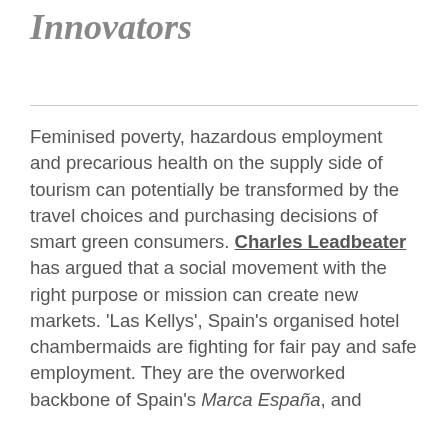Innovators
Feminised poverty, hazardous employment and precarious health on the supply side of tourism can potentially be transformed by the travel choices and purchasing decisions of smart green consumers. Charles Leadbeater has argued that a social movement with the right purpose or mission can create new markets. 'Las Kellys', Spain's organised hotel chambermaids are fighting for fair pay and safe employment. They are the overworked backbone of Spain's Marca España, and